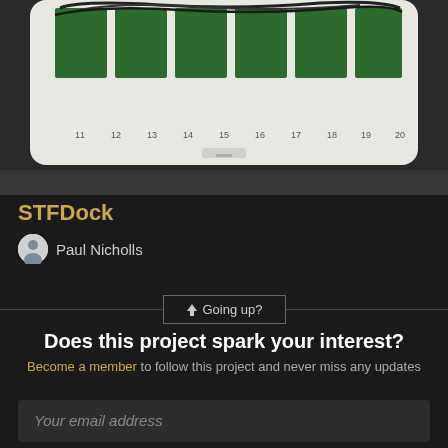[Figure (photo): Open white electronic device enclosure showing multiple green PCBs with wiring and components, with numbered ports visible along the bottom edge.]
STFDock
Paul Nicholls
Going up?
Does this project spark your interest?
Become a member to follow this project and never miss any updates
Your email address